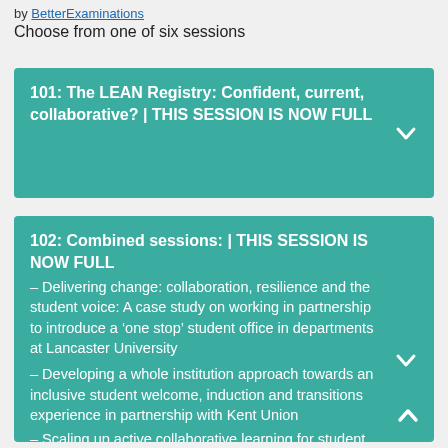by BetterExaminations
Choose from one of six sessions
101: The LEAN Registry: Confident, current, collaborative? | THIS SESSION IS NOW FULL
102: Combined sessions: | THIS SESSION IS NOW FULL
– Delivering change: collaboration, resilience and the student voice: A case study on working in partnership to introduce a ‘one stop’ student office in departments at Lancaster University
– Developing a whole institution approach towards an inclusive student welcome, induction and transitions experience in partnership with Kent Union
– Scaling up active collaborative learning for student success